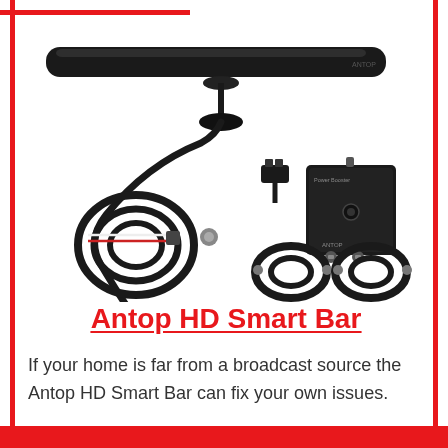[Figure (photo): Product photo of the Antop HD Smart Bar antenna kit, showing the long flat bar antenna, coiled cable, signal booster box with two coaxial outputs, two short coaxial cables, a small connector, and a wired power lead — all laid out on a white background.]
Antop HD Smart Bar
If your home is far from a broadcast source the Antop HD Smart Bar can fix your own issues.